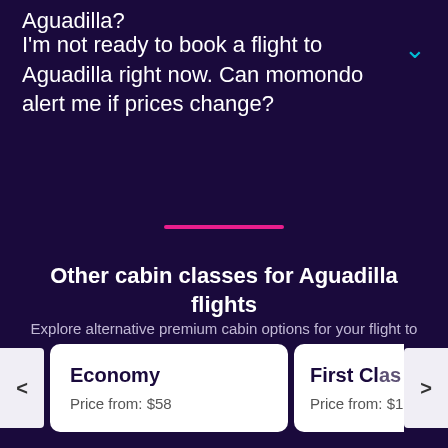Aguadilla?
I'm not ready to book a flight to Aguadilla right now. Can momondo alert me if prices change?
Other cabin classes for Aguadilla flights
Explore alternative premium cabin options for your flight to Aguadilla
Economy
Price from: $58
First Class
Price from: $1